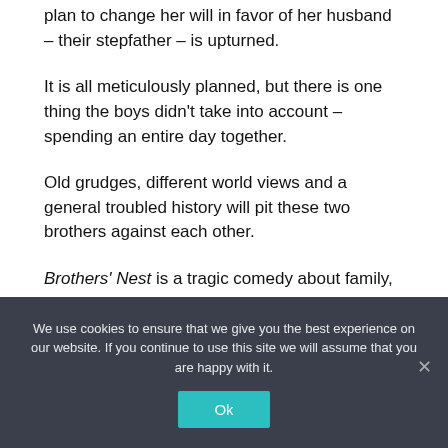plan to change her will in favor of her husband – their stepfather – is upturned.
It is all meticulously planned, but there is one thing the boys didn't take into account – spending an entire day together.
Old grudges, different world views and a general troubled history will pit these two brothers against each other.
Brothers' Nest is a tragic comedy about family, loyalty and sibling rivalries – demonstrating that even 'brotherly love' has its limits.
We use cookies to ensure that we give you the best experience on our website. If you continue to use this site we will assume that you are happy with it.